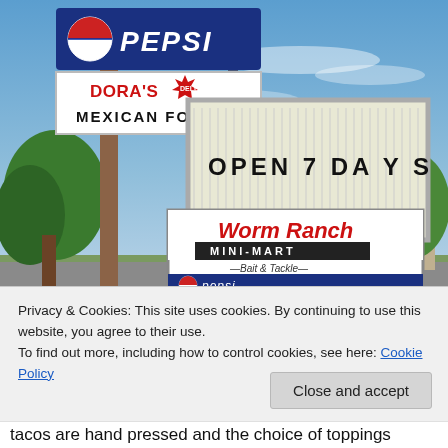[Figure (photo): Outdoor roadside signs: Pepsi sign on top, Dora's Deli Mexican Food sign, marquee board reading OPEN 7 DAYS, and Worm Ranch Mini-Mart Bait & Tackle sign with Pepsi branding, against a blue sky with green trees.]
Privacy & Cookies: This site uses cookies. By continuing to use this website, you agree to their use.
To find out more, including how to control cookies, see here: Cookie Policy
Close and accept
tacos are hand pressed and the choice of toppings